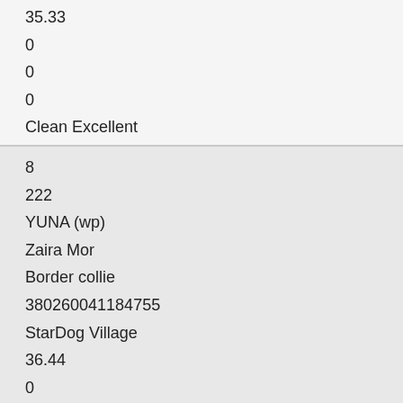| 35.33 | 0 | 0 | 0 | Clean Excellent |
| 8 | 222 | YUNA (wp) | Zaira Mor | Border collie | 380260041184755 | StarDog Village | 36.44 | 0 | 0 | 0 | Clean Excellent |
| 9 | 167 |